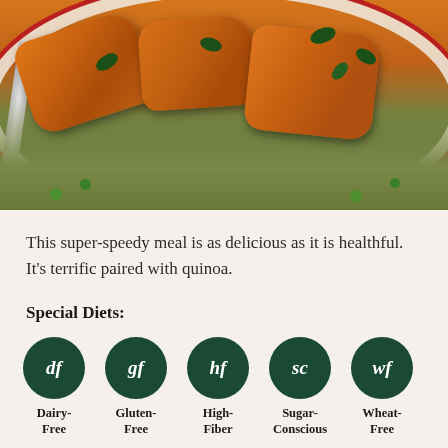[Figure (photo): Overhead photo of seared salmon fillets on a plate with chickpeas, green peas, and fresh basil leaves]
This super-speedy meal is as delicious as it is healthful. It's terrific paired with quinoa.
Special Diets:
df - Dairy-Free
gf - Gluten-Free
hf - High-Fiber
sc - Sugar-Conscious
wf - Wheat-Free